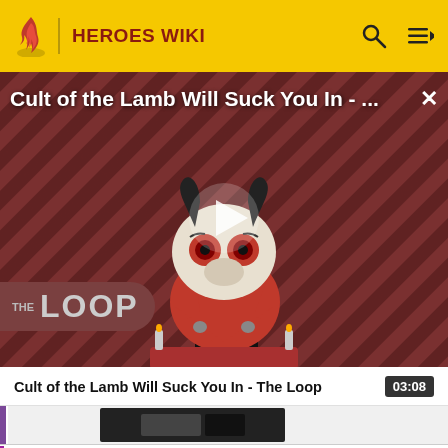HEROES WIKI
[Figure (screenshot): Video thumbnail for 'Cult of the Lamb Will Suck You In - The Loop' showing a cartoon lamb character with red eyes on a striped red and black background. A play button is overlaid in the center. 'THE LOOP' text appears at the bottom left. A close X is in the top right.]
Cult of the Lamb Will Suck You In - ...
Cult of the Lamb Will Suck You In - The Loop  03:08
[Figure (screenshot): Partial next video strip showing a dark image thumbnail]
-Welcome to the Hero/Protagonist wiki! If you can help us with this wiki please sign up and help us! Thanks! -M-NUva